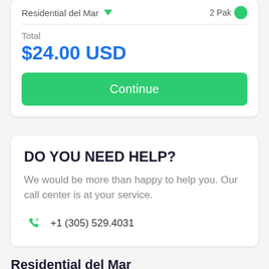Residential del Mar
Total
$24.00 USD
Continue
DO YOU NEED HELP?
We would be more than happy to help you. Our call center is at your service.
+1 (305) 529.4031
Residential del Mar